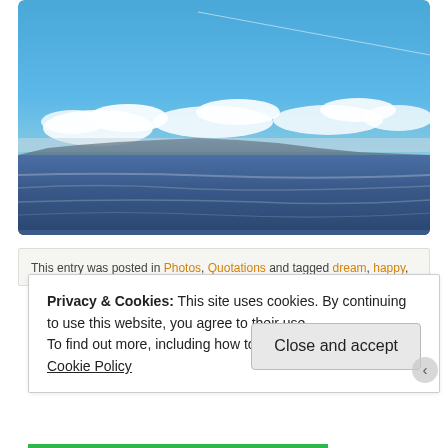[Figure (photo): Landscape photo of a calm blue ocean with mountains in the distance and white clouds in a blue sky. A contrail is faintly visible in the upper sky.]
This entry was posted in Photos, Quotations and tagged dream, happy,
Privacy & Cookies: This site uses cookies. By continuing to use this website, you agree to their use.
To find out more, including how to control cookies, see here: Cookie Policy
Close and accept